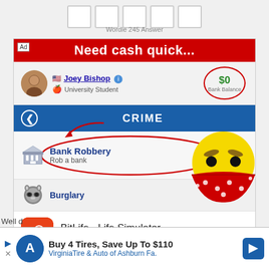[Figure (screenshot): Wordle 245 answer page top portion showing empty letter boxes]
Wordle 245 Answer
[Figure (screenshot): BitLife game advertisement showing 'Need cash quick...' with Joey Bishop profile, $0 Bank Balance, CRIME menu with Bank Robbery circled in red, robber emoji, and Burglary option]
BitLife - Life Simulator
How will you live your BitLife?
[Figure (screenshot): Bottom banner ad: Buy 4 Tires, Save Up To $110 - VirginiaTire & Auto of Ashburn Fa.]